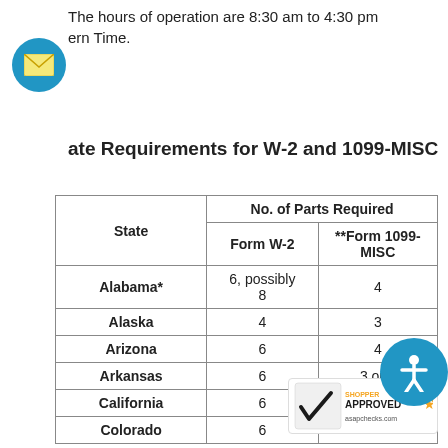The hours of operation are 8:30 am to 4:30 pm Eastern Time.
State Requirements for W-2 and 1099-MISC
| State | No. of Parts Required - Form W-2 | No. of Parts Required - **Form 1099-MISC |
| --- | --- | --- |
| Alabama* | 6, possibly 8 | 4 |
| Alaska | 4 | 3 |
| Arizona | 6 | 4 |
| Arkansas | 6 | 3 or 4 |
| California | 6 | 4 |
| Colorado | 6 |  |